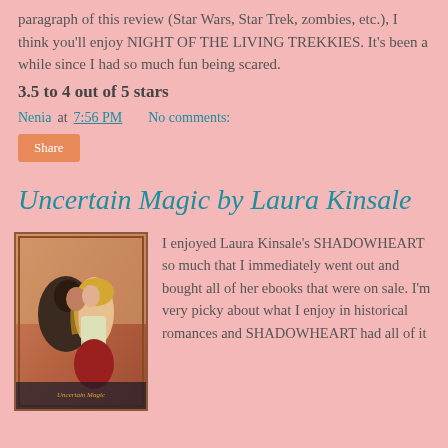paragraph of this review (Star Wars, Star Trek, zombies, etc.), I think you'll enjoy NIGHT OF THE LIVING TREKKIES. It's been a while since I had so much fun being scared.
3.5 to 4 out of 5 stars
Nenia at 7:56 PM    No comments:
Share
Uncertain Magic by Laura Kinsale
[Figure (illustration): Book cover showing a romantic couple about to kiss, with a man in dark clothing and a woman with flowing blonde hair, painted in warm tones]
I enjoyed Laura Kinsale's SHADOWHEART so much that I immediately went out and bought all of her ebooks that were on sale. I'm very picky about what I enjoy in historical romances and SHADOWHEART had all of it